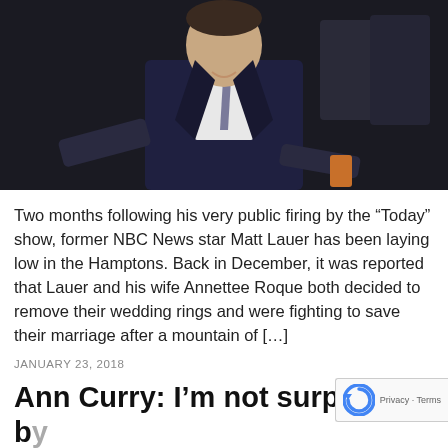[Figure (photo): Man in dark navy suit with grey tie, smiling, walking toward camera in a public setting with blurred figures in background]
Two months following his very public firing by the “Today” show, former NBC News star Matt Lauer has been laying low in the Hamptons. Back in December, it was reported that Lauer and his wife Annettee Roque both decided to remove their wedding rings and were fighting to save their marriage after a mountain of […]
JANUARY 23, 2018
Ann Curry: I’m not surprised b… the allegations against h…